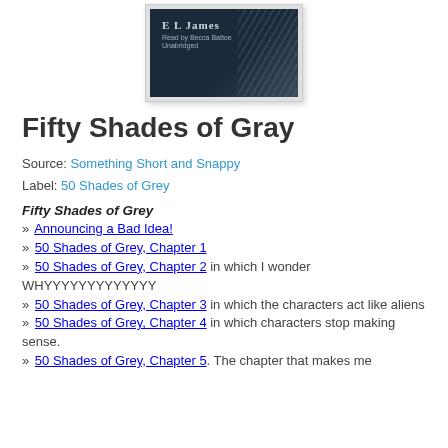[Figure (photo): Book cover for Fifty Shades of Grey audiobook by E L James, read by Becca Battoe, Unabridged. Dark background with textured pattern on the right side.]
Fifty Shades of Gray
Source: Something Short and Snappy
Label: 50 Shades of Grey
Fifty Shades of Grey
» Announcing a Bad Idea!
» 50 Shades of Grey, Chapter 1
» 50 Shades of Grey, Chapter 2 in which I wonder WHYYYYYYYYYYYYY
» 50 Shades of Grey, Chapter 3 in which the characters act like aliens
» 50 Shades of Grey, Chapter 4 in which characters stop making sense.
» 50 Shades of Grey, Chapter 5. The chapter that makes me